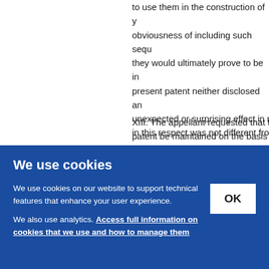to use them in the construction of y... obviousness of including such seq... they would ultimately prove to be in... present patent neither disclosed an... unexpected or surprising effect in r... in this respect was not different fro...
XIII. The appellant requested that t... patent be maintained on the basis o... alternatively on the basis of the firs...
[Figure (screenshot): Cookie consent banner overlay with blue background. Title: 'We use cookies'. Body text: 'We use cookies on our website to support technical features that enhance your user experience.' and 'We also use analytics. Access full information on cookies that we use and how to manage them' (link). OK button on the right.]
1230